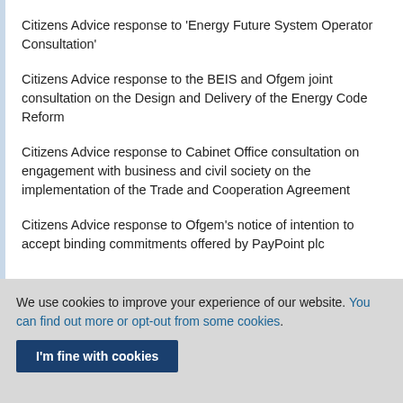Citizens Advice response to 'Energy Future System Operator Consultation'
Citizens Advice response to the BEIS and Ofgem joint consultation on the Design and Delivery of the Energy Code Reform
Citizens Advice response to Cabinet Office consultation on engagement with business and civil society on the implementation of the Trade and Cooperation Agreement
Citizens Advice response to Ofgem's notice of intention to accept binding commitments offered by PayPoint plc
We use cookies to improve your experience of our website. You can find out more or opt-out from some cookies.
I'm fine with cookies